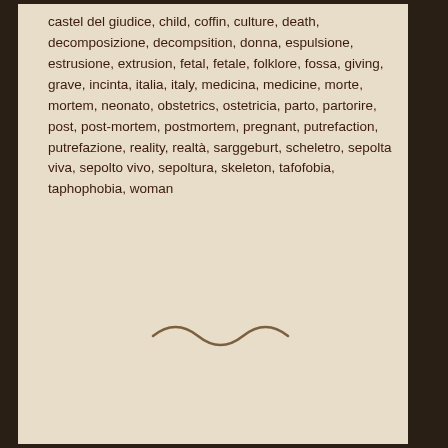castel del giudice, child, coffin, culture, death, decomposizione, decompsition, donna, espulsione, estrusione, extrusion, fetal, fetale, folklore, fossa, giving, grave, incinta, italia, italy, medicina, medicine, morte, mortem, neonato, obstetrics, ostetricia, parto, partorire, post, post-mortem, postmortem, pregnant, putrefaction, putrefazione, reality, realtà, sarggeburt, scheletro, sepolta viva, sepolto vivo, sepoltura, skeleton, tafofobia, taphophobia, woman
[Figure (illustration): A tilde-like decorative squiggle separator]